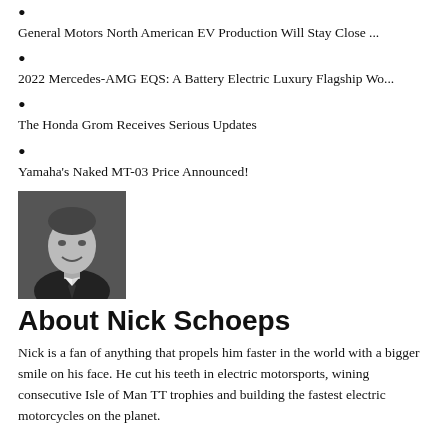General Motors North American EV Production Will Stay Close ...
2022 Mercedes-AMG EQS: A Battery Electric Luxury Flagship Wo...
The Honda Grom Receives Serious Updates
Yamaha's Naked MT-03 Price Announced!
[Figure (photo): Black and white portrait photo of Nick Schoeps, a young man smiling, wearing a suit.]
About Nick Schoeps
Nick is a fan of anything that propels him faster in the world with a bigger smile on his face. He cut his teeth in electric motorsports, wining consecutive Isle of Man TT trophies and building the fastest electric motorcycles on the planet. Whe...